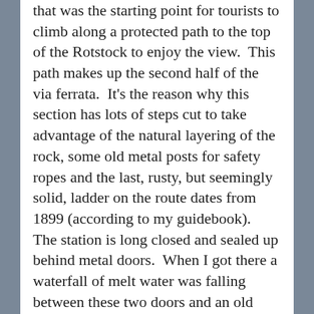that was the starting point for tourists to climb along a protected path to the top of the Rotstock to enjoy the view.  This path makes up the second half of the via ferrata.  It's the reason why this section has lots of steps cut to take advantage of the natural layering of the rock, some old metal posts for safety ropes and the last, rusty, but seemingly solid, ladder on the route dates from 1899 (according to my guidebook).  The station is long closed and sealed up behind metal doors.  When I got there a waterfall of melt water was falling between these two doors and an old snow drift was pilled up.
[Figure (photo): A person wearing a red jacket and sunglasses standing in front of a rocky cliff face. A cyan/teal arrow is visible in the upper right of the photo pointing upward-right.]